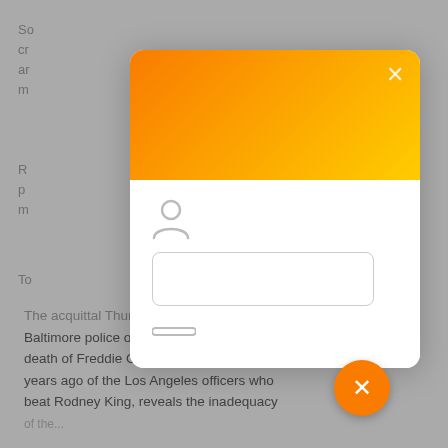[Figure (screenshot): A mobile UI screenshot showing a webpage article partially obscured by a modal login/sign-in dialog. The modal has an orange-to-yellow gradient header with a white X close button, a user/person icon, a text input field, and a keyboard icon below. An orange circular FAB button with an X appears at the bottom right. Partially visible article text below the modal discusses the acquittal of Baltimore police officers in the Freddie Gray case and comparison to Los Angeles officers who beat Rodney King.]
The acquittal Thursday of another Baltimore police officer charged in the death of Freddie Gray, like the acquittal 25 years ago of the Los Angeles officers who beat Rodney King, reveals the inadequacy